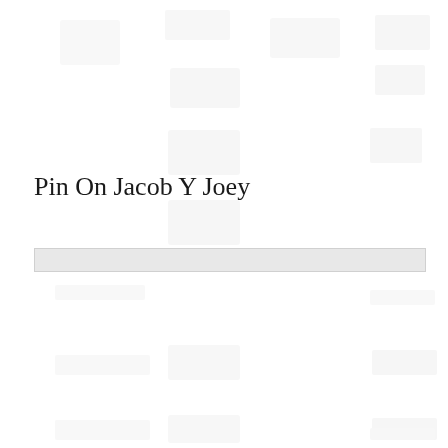[Figure (other): Faded watermark grid of thumbnail images arranged in rows across the top portion and bottom portion of the page]
Pin On Jacob Y Joey
[Figure (other): Light grey horizontal banner bar]